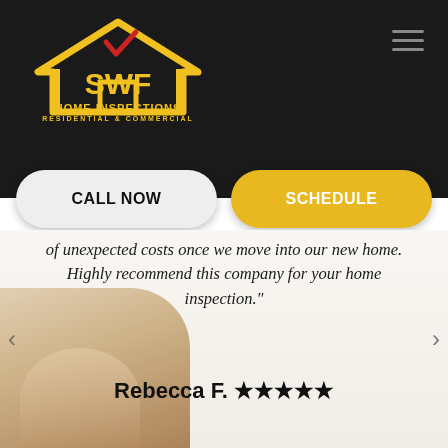[Figure (logo): SWF Home Inspections logo with house outline in yellow/gold, checkmark, and text 'HOME INSPECTIONS RESIDENTIAL & COMMERCIAL' on black background]
CALL NOW
SCHEDULE
of unexpected costs once we move into our new home. Highly recommend this company for your home inspection."
Rebecca F. ★★★★★